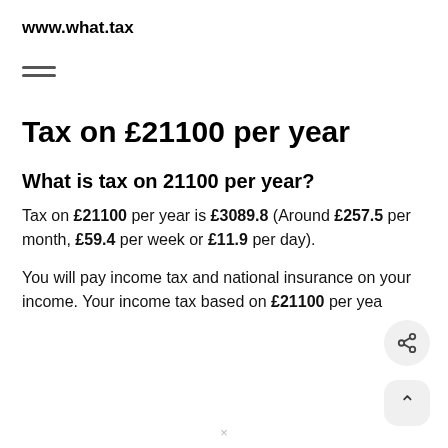www.what.tax
Tax on £21100 per year
What is tax on 21100 per year?
Tax on £21100 per year is £3089.8 (Around £257.5 per month, £59.4 per week or £11.9 per day).
You will pay income tax and national insurance on your income. Your income tax based on £21100 per yea…